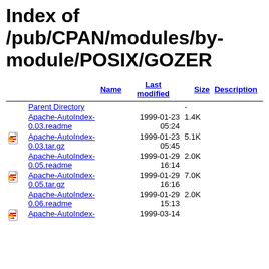Index of /pub/CPAN/modules/by-module/POSIX/GOZER
|  | Name | Last modified | Size | Description |
| --- | --- | --- | --- | --- |
|  | Parent Directory |  | - |  |
|  | Apache-AutoIndex-0.03.readme | 1999-01-23 05:24 | 1.4K |  |
| [tar] | Apache-AutoIndex-0.03.tar.gz | 1999-01-23 05:45 | 5.1K |  |
|  | Apache-AutoIndex-0.05.readme | 1999-01-29 16:14 | 2.0K |  |
| [tar] | Apache-AutoIndex-0.05.tar.gz | 1999-01-29 16:16 | 7.0K |  |
|  | Apache-AutoIndex-0.06.readme | 1999-01-29 15:13 | 2.0K |  |
| [tar] | Apache-AutoIndex-0.06.tar.gz | 1999-03-14 |  |  |